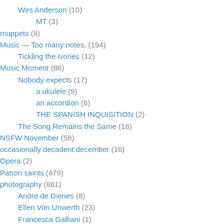Wes Anderson (10)
MT (3)
muppets (8)
Music — Too many notes. (194)
Tickling the ivories (12)
Music Moment (86)
Nobody expects (17)
a ukulele (9)
an accordion (6)
THE SPANISH INQUISITION (2)
The Song Remains the Same (18)
NSFW November (58)
occasionally decadent december (16)
Opera (2)
Patron saints (479)
photography (861)
Andre de Dienes (8)
Ellen Von Unwerth (23)
Francesca Galliani (1)
Landy Wardoll (8)